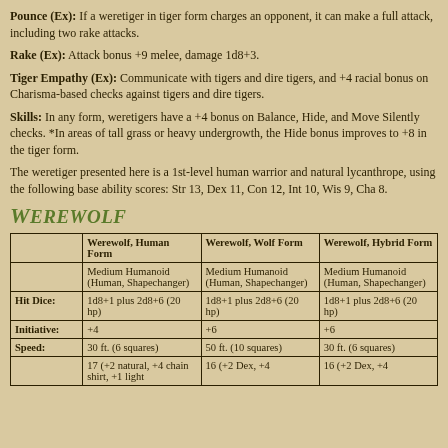Pounce (Ex): If a weretiger in tiger form charges an opponent, it can make a full attack, including two rake attacks.
Rake (Ex): Attack bonus +9 melee, damage 1d8+3.
Tiger Empathy (Ex): Communicate with tigers and dire tigers, and +4 racial bonus on Charisma-based checks against tigers and dire tigers.
Skills: In any form, weretigers have a +4 bonus on Balance, Hide, and Move Silently checks. *In areas of tall grass or heavy undergrowth, the Hide bonus improves to +8 in the tiger form.
The weretiger presented here is a 1st-level human warrior and natural lycanthrope, using the following base ability scores: Str 13, Dex 11, Con 12, Int 10, Wis 9, Cha 8.
Werewolf
|  | Werewolf, Human Form | Werewolf, Wolf Form | Werewolf, Hybrid Form |
| --- | --- | --- | --- |
|  | Medium Humanoid (Human, Shapechanger) | Medium Humanoid (Human, Shapechanger) | Medium Humanoid (Human, Shapechanger) |
| Hit Dice: | 1d8+1 plus 2d8+6 (20 hp) | 1d8+1 plus 2d8+6 (20 hp) | 1d8+1 plus 2d8+6 (20 hp) |
| Initiative: | +4 | +6 | +6 |
| Speed: | 30 ft. (6 squares) | 50 ft. (10 squares) | 30 ft. (6 squares) |
|  | 17 (+2 natural, +4 chain shirt, +1 light | 16 (+2 Dex, +4 | 16 (+2 Dex, +4 |